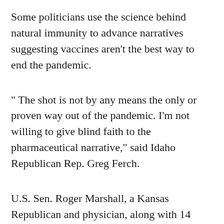Some politicians use the science behind natural immunity to advance narratives suggesting vaccines aren't the best way to end the pandemic.
" The shot is not by any means the only or proven way out of the pandemic. I'm not willing to give blind faith to the pharmaceutical narrative," said Idaho Republican Rep. Greg Ferch.
U.S. Sen. Roger Marshall, a Kansas Republican and physician, along with 14 other GOP doctors, dentists and pharmacists in Congress, sent a letter in late September to the Centers for Disease Control and Prevention questioning the...